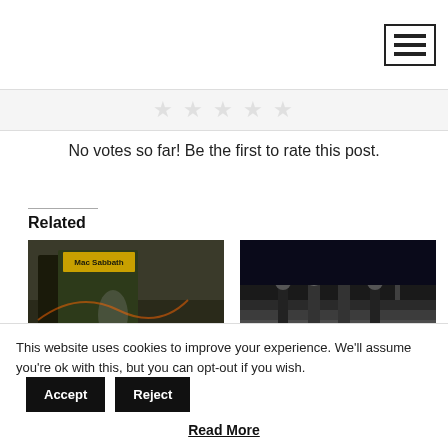Navigation bar with hamburger menu
[Figure (illustration): Faded star rating widget showing 5 stars]
No votes so far! Be the first to rate this post.
Related
[Figure (photo): MAC SABBATH album art showing dystopian imagery with band name]
MAC SABBATH Journeys Through Dystopian Fast-Food World in Innovative New Pop-Up
[Figure (photo): LUCIFER band photo showing members standing in fog]
LUCIFER SIGN WITH NUCLEAR BLAST RECORDS
13th July 2022
This website uses cookies to improve your experience. We'll assume you're ok with this, but you can opt-out if you wish.
Read More